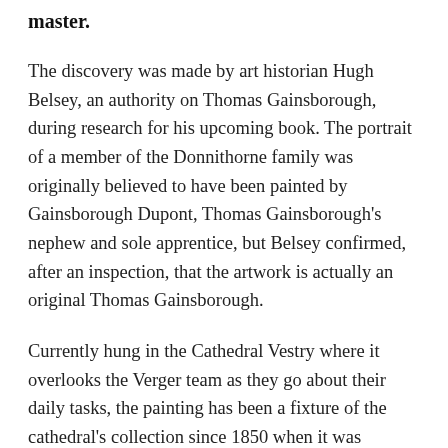master.
The discovery was made by art historian Hugh Belsey, an authority on Thomas Gainsborough, during research for his upcoming book. The portrait of a member of the Donnithorne family was originally believed to have been painted by Gainsborough Dupont, Thomas Gainsborough's nephew and sole apprentice, but Belsey confirmed, after an inspection, that the artwork is actually an original Thomas Gainsborough.
Currently hung in the Cathedral Vestry where it overlooks the Verger team as they go about their daily tasks, the painting has been a fixture of the cathedral's collection since 1850 when it was donated to the then College of Vicar's Choral. Previously it was hung in